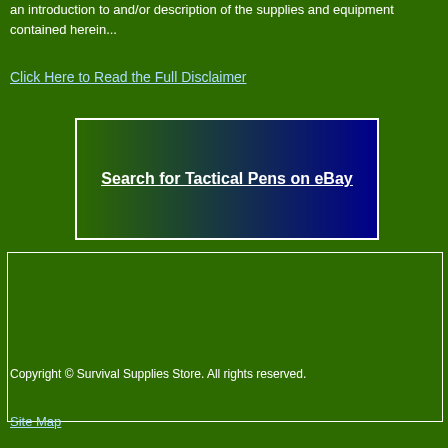an introduction to and/or description of the supplies and equipment contained herein...
Click Here to Read the Full Disclaimer
[Figure (other): Button with gradient background (green to dark blue) with white bold underlined text: Search for Tactical Pens on eBay, surrounded by white border]
[Figure (other): Empty advertisement box with white border on green background]
Copyright © Survival Supplies Store. All rights reserved.
Site Map